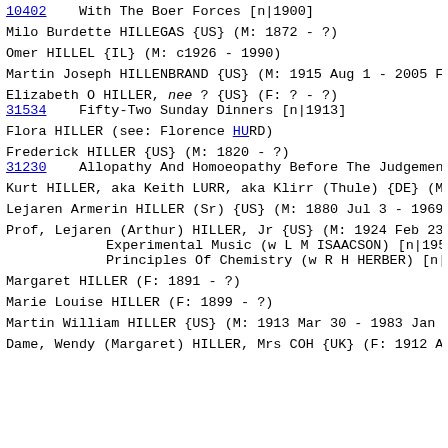10402    With The Boer Forces [n|1900]
Milo Burdette HILLEGAS {US} (M: 1872 - ?)
Omer HILLEL {IL} (M: c1926 - 1990)
Martin Joseph HILLENBRAND {US} (M: 1915 Aug 1 - 2005 Feb
Elizabeth O HILLER, nee ? {US} (F: ? - ?)
31534    Fifty-Two Sunday Dinners [n|1913]
Flora HILLER (see: Florence HURD)
Frederick HILLER {US} (M: 1820 - ?)
31230    Allopathy And Homoeopathy Before The Judgement Of
Kurt HILLER, aka Keith LURR, aka Klirr (Thule) {DE} (M:
Lejaren Armerin HILLER (Sr) {US} (M: 1880 Jul 3 - 1969 Ma
Prof, Lejaren (Arthur) HILLER, Jr {US} (M: 1924 Feb 23 -
        Experimental Music (w L M ISAACSON) [n|1959]
        Principles Of Chemistry (w R H HERBER) [n|1960]
Margaret HILLER (F: 1891 - ?)
Marie Louise HILLER (F: 1899 - ?)
Martin William HILLER {US} (M: 1913 Mar 30 - 1983 Jan 27
Dame, Wendy (Margaret) HILLER, Mrs COH {UK} (F: 1912 Au